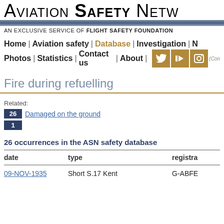AVIATION SAFETY NETW
AN EXCLUSIVE SERVICE OF FLIGHT SAFETY FOUNDATION
Home | Aviation safety | Database | Investigation | N Photos | Statistics | Contact us | About
Fire during refuelling
Related:
26 Damaged on the ground
1
26 occurrences in the ASN safety database
| date | type | registra |
| --- | --- | --- |
| 09-NOV-1935 | Short S.17 Kent | G-ABFE |